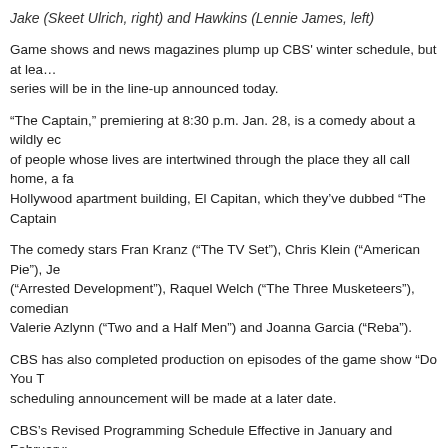Jake (Skeet Ulrich, right) and Hawkins (Lennie James, left)
Game shows and news magazines plump up CBS' winter schedule, but at least one new series will be in the line-up announced today.
“The Captain,” premiering at 8:30 p.m. Jan. 28, is a comedy about a wildly eclectic group of people whose lives are intertwined through the place they all call home, a famed old Hollywood apartment building, El Capitan, which they’ve dubbed “The Captain.”
The comedy stars Fran Kranz (“The TV Set”), Chris Klein (“American Pie”), Je... (“Arrested Development”), Raquel Welch (“The Three Musketeers”), comedian... Valerie Azlynn (“Two and a Half Men”) and Joanna Garcia (“Reba”).
CBS has also completed production on episodes of the game show “Do You T... scheduling announcement will be made at a later date.
CBS’s Revised Programming Schedule Effective in January and February:
Wednesday, Jan. 2
8:00-9:00 PM POWER OF 10 (Premiere)
9:00-10:00 PM CRIMINAL MINDS
10:00-11:00 PM CSI: NY
Sunday, Jan. 13
9:00-11:00 PM COMANCHE MOON (Part One)